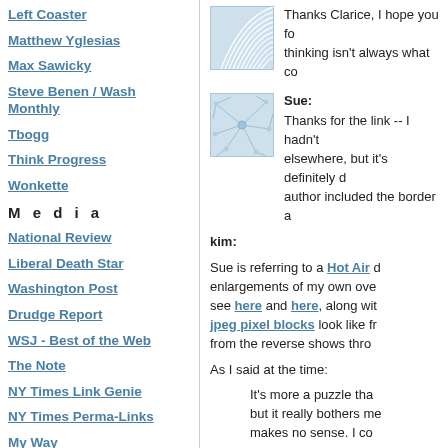Left Coaster
Matthew Yglesias
Max Sawicky
Steve Benen / Wash Monthly
Tbogg
Think Progress
Wonkette
M e d i a
National Review
Liberal Death Star
Washington Post
Drudge Report
WSJ - Best of the Web
The Note
NY Times Link Genie
NY Times Perma-Links
My Way
[Figure (illustration): Blue wave/fan pattern avatar image]
Thanks Clarice, I hope you fo thinking isn't always what co
[Figure (illustration): Blue neural/network pattern avatar image]
Sue:
Thanks for the link -- I hadn't elsewhere, but it's definitely d author included the border a
kim:
Sue is referring to a Hot Air enlargements of my own ove see here and here, along wi jpeg pixel blocks look like fr from the reverse shows thro
As I said at the time:
It's more a puzzle tha but it really bothers me makes no sense. I co